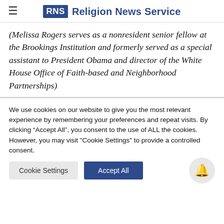RNS Religion News Service
(Melissa Rogers serves as a nonresident senior fellow at the Brookings Institution and formerly served as a special assistant to President Obama and director of the White House Office of Faith-based and Neighborhood Partnerships)
We use cookies on our website to give you the most relevant experience by remembering your preferences and repeat visits. By clicking “Accept All”, you consent to the use of ALL the cookies. However, you may visit "Cookie Settings" to provide a controlled consent.